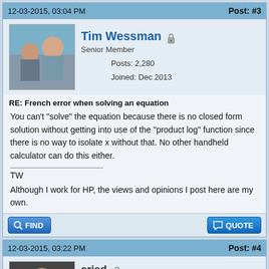12-03-2015, 03:04 PM   Post: #3
Tim Wessman  Senior Member  Posts: 2,280  Joined: Dec 2013
RE: French error when solving an equation
You can't "solve" the equation because there is no closed form solution without getting into use of the "product log" function since there is no way to isolate x without that. No other handheld calculator can do this either.
TW
Although I work for HP, the views and opinions I post here are my own.
12-03-2015, 03:22 PM   Post: #4
eried  Senior Member  Posts: 744  Joined: Dec 2013